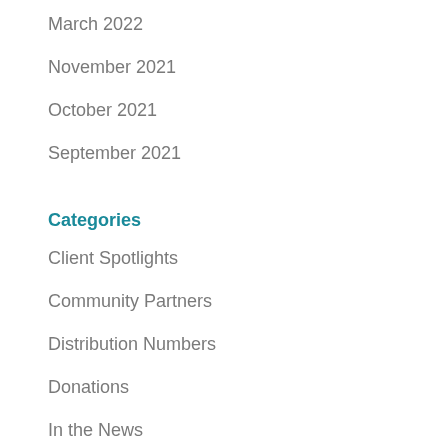March 2022
November 2021
October 2021
September 2021
Categories
Client Spotlights
Community Partners
Distribution Numbers
Donations
In the News
Uncategorized